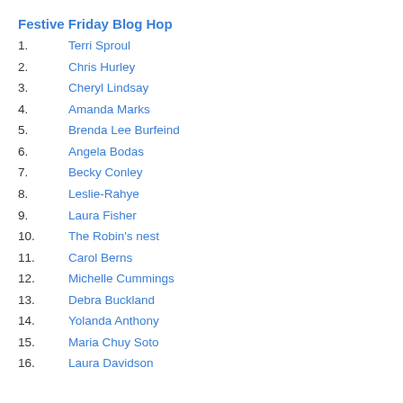Festive Friday Blog Hop
1.  Terri Sproul
2.  Chris Hurley
3.  Cheryl Lindsay
4.  Amanda Marks
5.  Brenda Lee Burfeind
6.  Angela Bodas
7.  Becky Conley
8.  Leslie-Rahye
9.  Laura Fisher
10.  The Robin's nest
11.  Carol Berns
12.  Michelle Cummings
13.  Debra Buckland
14.  Yolanda Anthony
15.  Maria Chuy Soto
16.  Laura Davidson